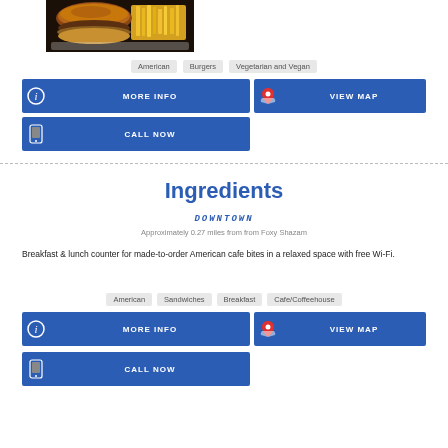[Figure (photo): Photo of a burger with fries on a tray]
American  Burgers  Vegetarian and Vegan
MORE INFO
VIEW MAP
CALL NOW
Ingredients
DOWNTOWN
Approximately 0.27 miles from from Foxy Shazam
Breakfast & lunch counter for made-to-order American cafe bites in a relaxed space with free Wi-Fi.
American  Sandwiches  Breakfast  Cafe/Coffeehouse
MORE INFO
VIEW MAP
CALL NOW